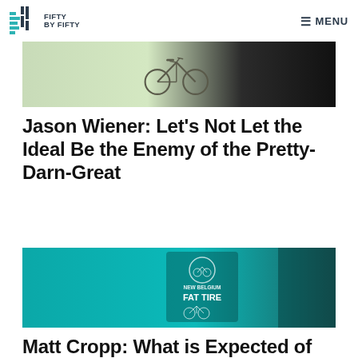FIFTY BY FIFTY — MENU
[Figure (photo): Greyscale/tinted photo of a vintage bicycle leaning against something, cropped header image]
Jason Wiener: Let's Not Let the Ideal Be the Enemy of the Pretty-Darn-Great
[Figure (photo): Teal-tinted photo of a New Belgium Fat Tire beer bottle with a bicycle label]
Matt Cropp: What is Expected of